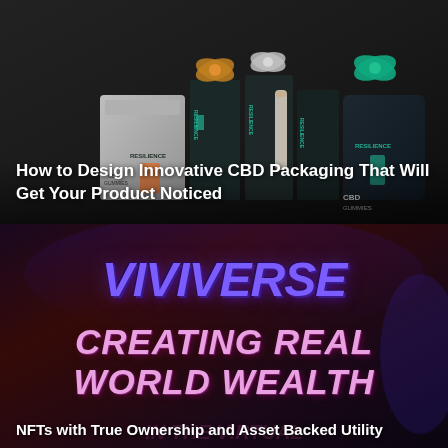[Figure (photo): Photo of multiple dark-packaged CBD products (boxes, bags, tubes) with colorful ribbon bows on a dark background — Resilience brand CBD packaging]
How to Design Innovative CBD Packaging That Will Get Your Product Noticed
[Figure (screenshot): Dark red/purple background with VIVIVERSE logo in bold italic purple text, CREATING REAL WORLD WEALTH text in large pink/purple italic letters, and subtitle text]
NFTs with True Ownership and Asset Backed Utility